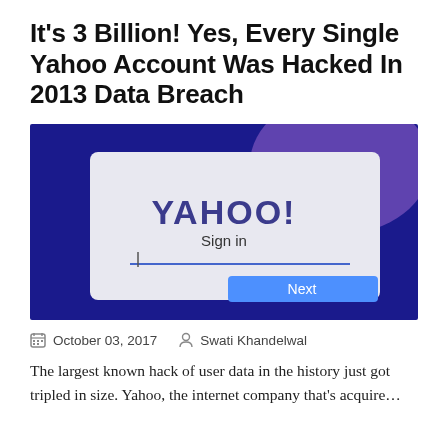It's 3 Billion! Yes, Every Single Yahoo Account Was Hacked In 2013 Data Breach
[Figure (photo): Yahoo Sign in screen photographed on a device, showing YAHOO! logo, Sign in text, an input field with a blue underline, and a blue Next button, with a dark blue background.]
October 03, 2017   Swati Khandelwal
The largest known hack of user data in the history just got tripled in size. Yahoo, the internet company that's acquire...